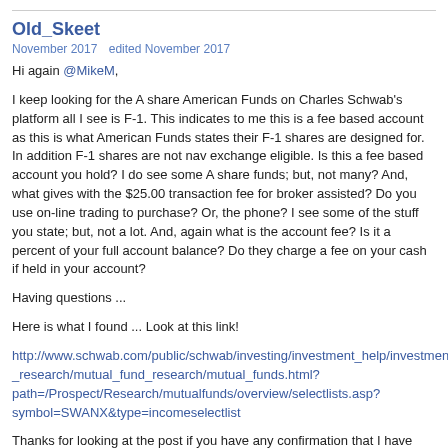Old_Skeet
November 2017   edited November 2017
Hi again @MikeM,
I keep looking for the A share American Funds on Charles Schwab's platform all I see is F-1. This indicates to me this is a fee based account as this is what American Funds states their F-1 shares are designed for. In addition F-1 shares are not nav exchange eligible. Is this a fee based account you hold? I do see some A share funds; but, not many? And, what gives with the $25.00 transaction fee for broker assisted? Do you use on-line trading to purchase? Or, the phone? I see some of the stuff you state; but, not a lot. And, again what is the account fee? Is it a percent of your full account balance? Do they charge a fee on your cash if held in your account?
Having questions ...
Here is what I found ... Look at this link!
http://www.schwab.com/public/schwab/investing/investment_help/investment_research/mutual_fund_research/mutual_funds.html?path=/Prospect/Research/mutualfunds/overview/selectlists.asp?symbol=SWANX&type=incomeselectlist
Thanks for looking at the post if you have any confirmation that I have been sharing...